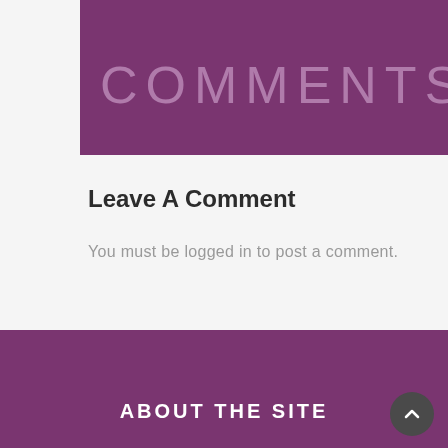COMMENTS
Leave A Comment
You must be logged in to post a comment.
ABOUT THE SITE